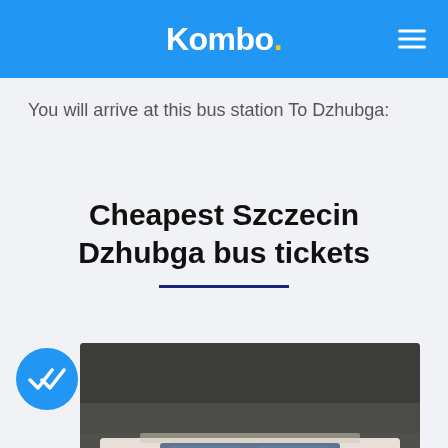Kombo.
You will arrive at this bus station To Dzhubga:
Cheapest Szczecin Dzhubga bus tickets
[Figure (photo): Photo of a vintage VW bus toy/model in brown and white colors, photographed close-up with blurred background]
[Figure (other): Blue circular badge with double checkmark icon]